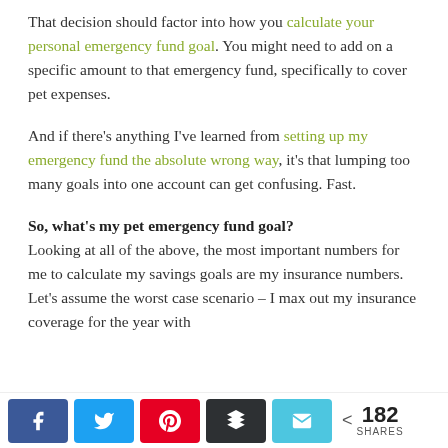That decision should factor into how you calculate your personal emergency fund goal. You might need to add on a specific amount to that emergency fund, specifically to cover pet expenses.
And if there's anything I've learned from setting up my emergency fund the absolute wrong way, it's that lumping too many goals into one account can get confusing. Fast.
So, what's my pet emergency fund goal?
Looking at all of the above, the most important numbers for me to calculate my savings goals are my insurance numbers. Let's assume the worst case scenario – I max out my insurance coverage for the year with
182 SHARES